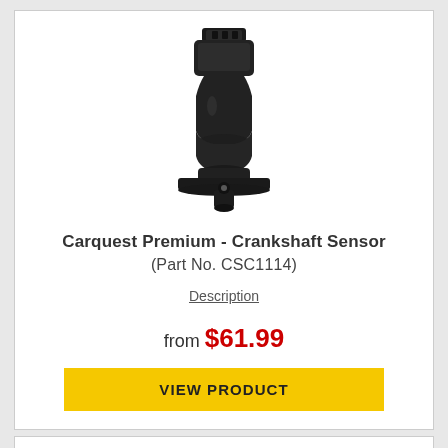[Figure (photo): Crankshaft position sensor part, black plastic, shown from side angle]
Carquest Premium - Crankshaft Sensor
(Part No. CSC1114)
Description
from $61.99
VIEW PRODUCT
[Figure (photo): Partial view of another crankshaft sensor product, black, bottom card]